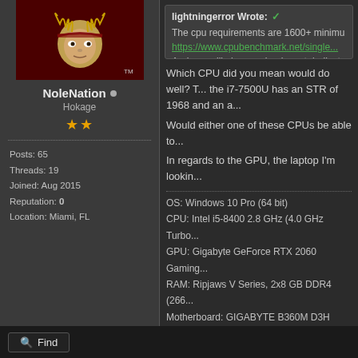[Figure (logo): Florida State University Seminoles logo/mascot avatar]
NoleNation • (online dot)
Hokage
★★
Posts: 65
Threads: 19
Joined: Aug 2015
Reputation: 0
Location: Miami, FL
lightningerror Wrote: ✓
The cpu requirements are 1600+ minimum...
https://www.cpubenchmark.net/single...
And you will also need a decent dedicated...

The cpu you have will do fairly well , able
Which CPU did you mean would do well? T... the i7-7500U has an STR of 1968 and an a...
Would either one of these CPUs be able to...
In regards to the GPU, the laptop I'm lookin...
OS: Windows 10 Pro (64 bit)
CPU: Intel i5-8400 2.8 GHz (4.0 GHz Turbo...
GPU: Gigabyte GeForce RTX 2060 Gaming...
RAM: Ripjaws V Series, 2x8 GB DDR4 (266...
Motherboard: GIGABYTE B360M D3H
Power supply: EVGA SuperNOVA G3 550 W...
🔍 Find